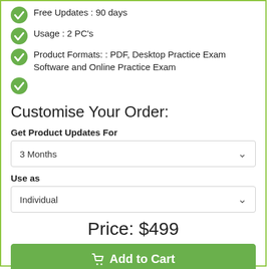Free Updates : 90 days
Usage : 2 PC's
Product Formats: : PDF, Desktop Practice Exam Software and Online Practice Exam
Customise Your Order:
Get Product Updates For
3 Months
Use as
Individual
Price: $499
Add to Cart
Guaranteed SAFE Checkout